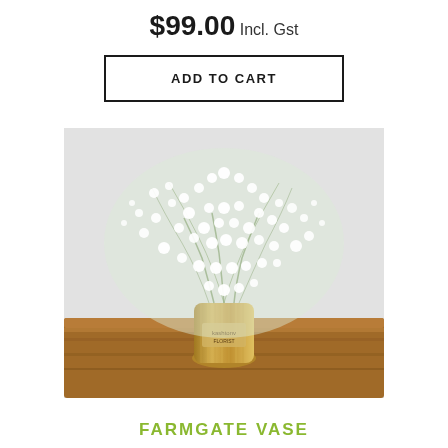$99.00 Incl. Gst
ADD TO CART
[Figure (photo): Baby's breath flowers in a ribbed gold/metallic vase sitting on a wooden table, white background]
FARMGATE VASE